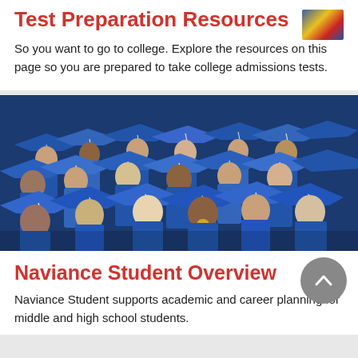Test Preparation Resources
So you want to go to college. Explore the resources on this page so you are prepared to take college admissions tests.
[Figure (photo): A large group of students wearing blue graduation caps and gowns at a graduation ceremony.]
Naviance Student Overview
Naviance Student supports academic and career planning for middle and high school students.